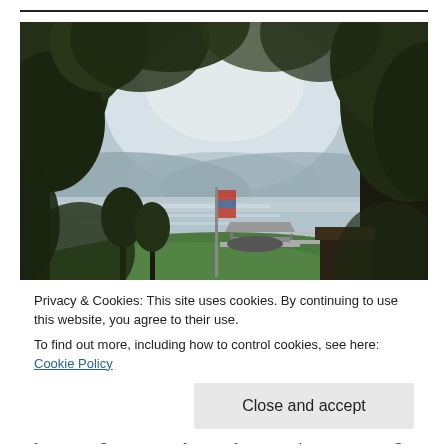[Figure (photo): Outdoor lakeside scene viewed through trees. A grassy slope leads down to a lake with calm water. A boat dock with a covered shelter and a flagpole with a flag are visible near the water's edge. A small dark structure (shed or boathouse) sits on the right near the water. Lush green trees frame the scene, with mountains/hills visible across the lake in the background under a bright sky.]
Privacy & Cookies: This site uses cookies. By continuing to use this website, you agree to their use.
To find out more, including how to control cookies, see here: Cookie Policy
Close and accept
my morning coffee. My hubby and I spent four magical